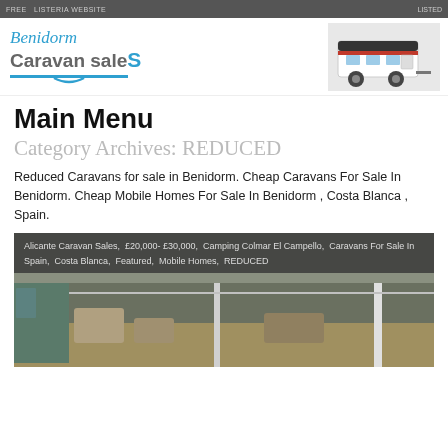FREE LISTERIA WEBSITE
[Figure (logo): Benidorm Caravan Sales logo with blue italic text and a caravan photo on the right]
Main Menu
Category Archives: REDUCED
Reduced Caravans for sale in Benidorm. Cheap Caravans For Sale In Benidorm. Cheap Mobile Homes For Sale In Benidorm , Costa Blanca , Spain.
[Figure (photo): Photo of a caravan patio/veranda scene with outdoor furniture, with overlay text listing tags: Alicante Caravan Sales, £20,000- £30,000, Camping Colmar El Campello, Caravans For Sale In Spain, Costa Blanca, Featured, Mobile Homes, REDUCED]